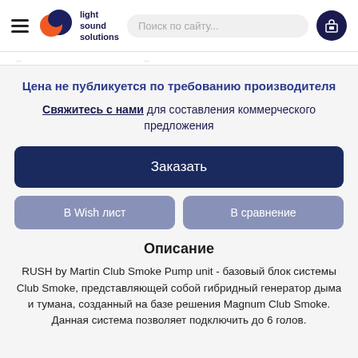light sound solutions | Поиск по сайту...
Цена не публикуется по требованию производителя
Свяжитесь с нами для составления коммерческого предложения
Заказать
В Wish лист
В сравнение
Описание
RUSH by Martin Club Smoke Pump unit - базовый блок системы Club Smoke, представляющей собой гибридный генератор дыма и тумана, созданный на базе решения Magnum Club Smoke. Данная система позволяет подключить до 6 голов.